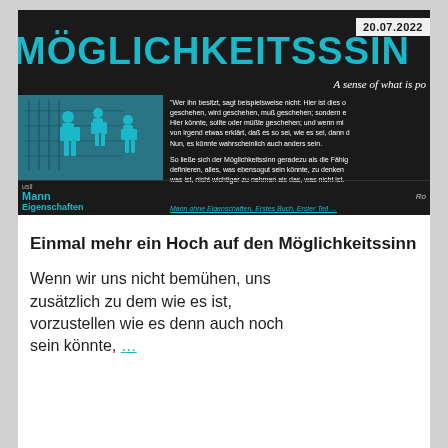[Figure (screenshot): Dark banner with teal title 'MÖGLICHKEITSSINN', date '20.07.2022', subtitle 'A sense of what is po...', book cover image on left, German quote text on right, and source citation at bottom.]
Einmal mehr ein Hoch auf den Möglichkeitssinn
Wenn wir uns nicht bemühen, uns zusätzlich zu dem wie es ist, vorzustellen wie es denn auch noch sein könnte, ...